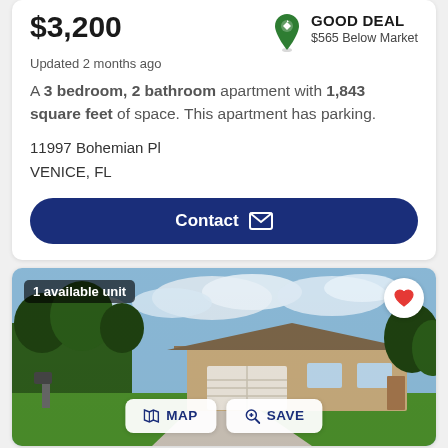$3,200
GOOD DEAL
$565 Below Market
Updated 2 months ago
A 3 bedroom, 2 bathroom apartment with 1,843 square feet of space. This apartment has parking.
11997 Bohemian Pl
VENICE, FL
Contact
1 available unit
[Figure (photo): Exterior photo of a single-story tan/beige house with attached garage, green lawn, trees in background, cloudy sky]
MAP
SAVE